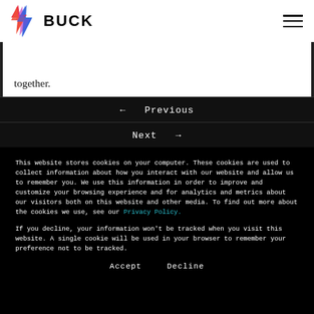[Figure (logo): BUCK logo with colorful flame/lightning icon and bold text 'BUCK']
together.
← Previous
Next →
This website stores cookies on your computer. These cookies are used to collect information about how you interact with our website and allow us to remember you. We use this information in order to improve and customize your browsing experience and for analytics and metrics about our visitors both on this website and other media. To find out more about the cookies we use, see our Privacy Policy.
If you decline, your information won't be tracked when you visit this website. A single cookie will be used in your browser to remember your preference not to be tracked.
Accept
Decline